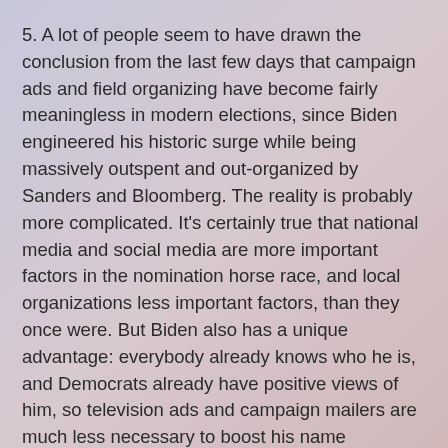5. A lot of people seem to have drawn the conclusion from the last few days that campaign ads and field organizing have become fairly meaningless in modern elections, since Biden engineered his historic surge while being massively outspent and out-organized by Sanders and Bloomberg. The reality is probably more complicated. It's certainly true that national media and social media are more important factors in the nomination horse race, and local organizations less important factors, than they once were. But Biden also has a unique advantage: everybody already knows who he is, and Democrats already have positive views of him, so television ads and campaign mailers are much less necessary to boost his name recognition or get his message out than would be true for other candidates.
In fact, it's very possible that Biden's lack of money and organizational capacity severely damaged and almost ended his candidacy in Iowa and New Hampshire—especially in Iowa, where the caucus system rewards candidates who have the infrastructure to identify supporters, drag them to the caucus meetings, and keep them there until the voting is